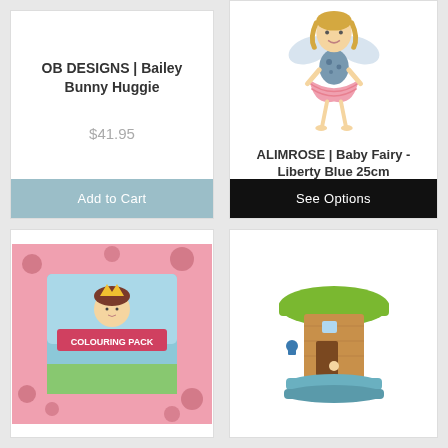OB DESIGNS | Bailey Bunny Huggie
$41.95
Add to Cart
[Figure (illustration): Fairy doll in blue floral top and pink tutu skirt with wings, blonde hair]
ALIMROSE | Baby Fairy - Liberty Blue 25cm
$39.95
See Options
[Figure (photo): Colouring pack with pink cover showing illustrated girl with flowers]
[Figure (photo): Wooden toy with green mushroom top and blue base with small figure]